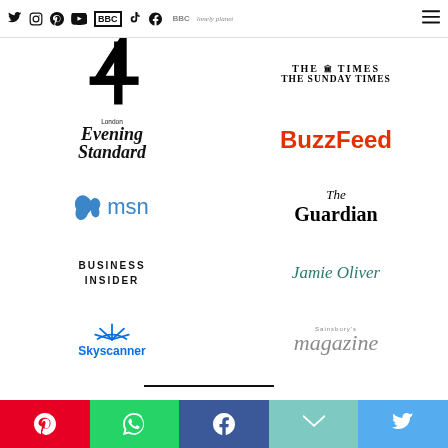Social media icons: Twitter, Instagram, Pinterest, YouTube, BBC, TikTok, Facebook | BBC logo | Lonely Planet logo | Hamburger menu
[Figure (logo): Channel 4 logo]
[Figure (logo): The Times / The Sunday Times logo]
[Figure (logo): London Evening Standard logo]
[Figure (logo): BuzzFeed logo]
[Figure (logo): MSN logo with butterfly icon]
[Figure (logo): The Guardian logo]
[Figure (logo): Business Insider logo]
[Figure (logo): Jamie Oliver logo]
[Figure (logo): Skyscanner logo]
[Figure (logo): Sainsbury's Magazine logo]
Share buttons: Pinterest, WhatsApp, Facebook, Email, Twitter